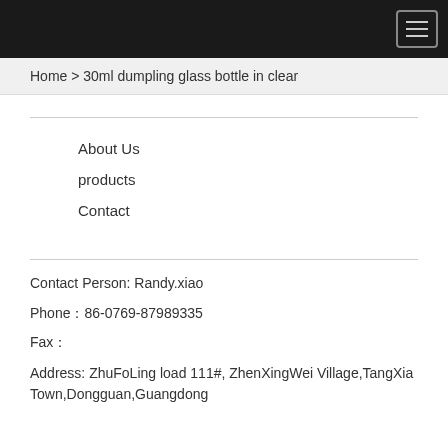Home > 30ml dumpling glass bottle in clear
About Us
products
Contact
Contact Person: Randy.xiao
Phone：86-0769-87989335
Fax：
Address: ZhuFoLing load 111#, ZhenXingWei Village,TangXia Town,Dongguan,Guangdong